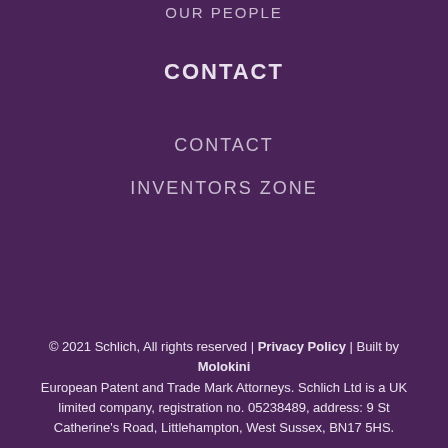OUR PEOPLE
CONTACT
CONTACT
INVENTORS ZONE
© 2021 Schlich, All rights reserved | Privacy Policy | Built by Molokini European Patent and Trade Mark Attorneys. Schlich Ltd is a UK limited company, registration no. 05238489, address: 9 St Catherine's Road, Littlehampton, West Sussex, BN17 5HS.